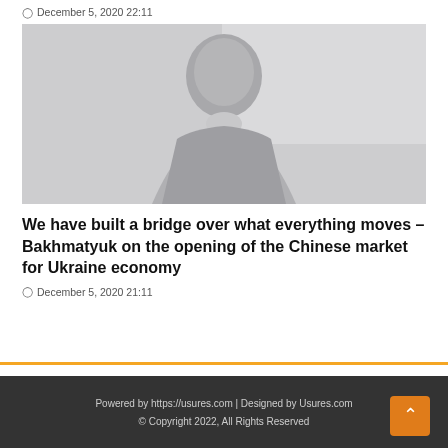December 5, 2020 22:11
[Figure (photo): A man in a light blue/grey blazer, partially faded/washed out photo, seated against a light background.]
We have built a bridge over what everything moves – Bakhmatyuk on the opening of the Chinese market for Ukraine economy
December 5, 2020 21:11
Powered by https://usures.com | Designed by Usures.com © Copyright 2022, All Rights Reserved